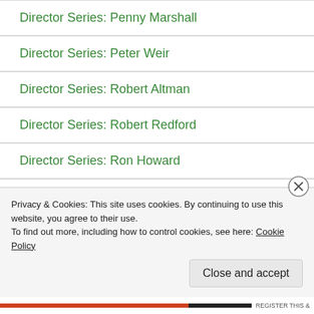Director Series: Penny Marshall
Director Series: Peter Weir
Director Series: Robert Altman
Director Series: Robert Redford
Director Series: Ron Howard
Director Series: Sam Mendes
Director Series: Sam Peckinpah
Director Series: Sydney Pollack
Director Series: Terrence Malick
Privacy & Cookies: This site uses cookies. By continuing to use this website, you agree to their use.
To find out more, including how to control cookies, see here: Cookie Policy
Close and accept